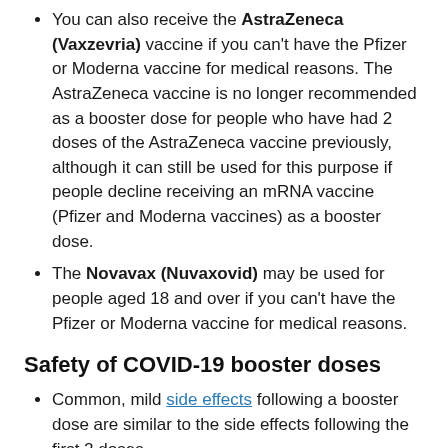You can also receive the AstraZeneca (Vaxzevria) vaccine if you can't have the Pfizer or Moderna vaccine for medical reasons. The AstraZeneca vaccine is no longer recommended as a booster dose for people who have had 2 doses of the AstraZeneca vaccine previously, although it can still be used for this purpose if people decline receiving an mRNA vaccine (Pfizer and Moderna vaccines) as a booster dose.
The Novavax (Nuvaxovid) may be used for people aged 18 and over if you can't have the Pfizer or Moderna vaccine for medical reasons.
Safety of COVID-19 booster doses
Common, mild side effects following a booster dose are similar to the side effects following the first 2 doses.
Serious side effects such as myocarditis and